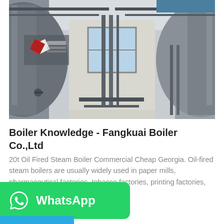[Figure (photo): Industrial boiler room showing large cylindrical oil-fired steam boilers on both sides of a corridor, with Chinese manufacturer branding (Fangkuai) visible on the left boiler. Bright windows visible in the background.]
Boiler Knowledge - Fangkuai Boiler Co.,Ltd
20t Oil Fired Steam Boiler Commercial Cheap Georgia. Oil-fired steam boilers are usually widely used in paper mills, pharmaceutical factories, tobacco factories, printing factories,
[Figure (screenshot): WhatsApp promotional banner overlay with green background, WhatsApp phone icon, and 'WhatsApp' text in white. A blue button is partially visible at the bottom.]